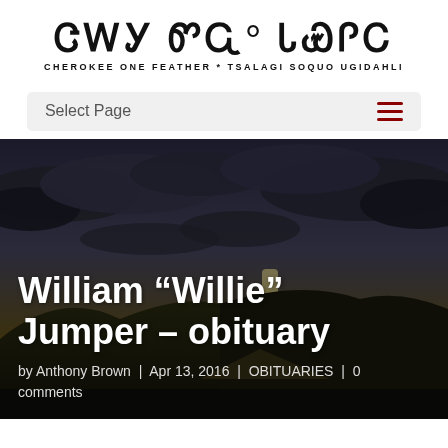ᏣᎳᎩ ᏦᏄᏍᎩ ᎤᎩᏓᎸᎢ — CHEROKEE ONE FEATHER * TSALAGI SOQUO UGIDAHLI
Select Page
William “Willie” Jumper – obituary
by Anthony Brown | Apr 13, 2016 | OBITUARIES | 0 comments
[Figure (photo): Sunset landscape with dark stormy clouds and mountain silhouette, used as hero background image]